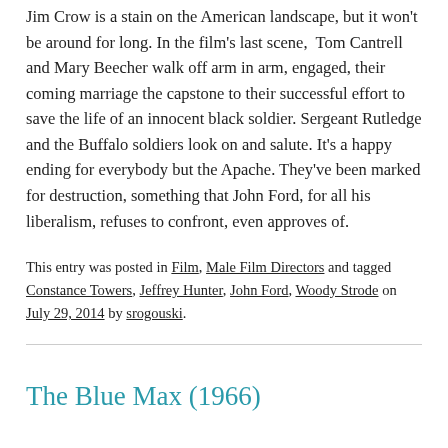Jim Crow is a stain on the American landscape, but it won't be around for long. In the film's last scene, Tom Cantrell and Mary Beecher walk off arm in arm, engaged, their coming marriage the capstone to their successful effort to save the life of an innocent black soldier. Sergeant Rutledge and the Buffalo soldiers look on and salute. It's a happy ending for everybody but the Apache. They've been marked for destruction, something that John Ford, for all his liberalism, refuses to confront, even approves of.
This entry was posted in Film, Male Film Directors and tagged Constance Towers, Jeffrey Hunter, John Ford, Woody Strode on July 29, 2014 by srogouski.
The Blue Max (1966)